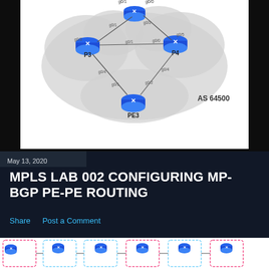[Figure (network-graph): MPLS network diagram showing routers P3, P4, PE3 within AS 64500 cloud topology with labeled interfaces (g0/1, g0/2, g0/3, g0/4, etc.) and one additional router at top]
May 13, 2020
MPLS LAB 002 CONFIGURING MP-BGP PE-PE ROUTING
Share    Post a Comment
[Figure (network-graph): Bottom portion of a detailed MPLS network diagram showing multiple routers with dashed boundary boxes and interface labels]